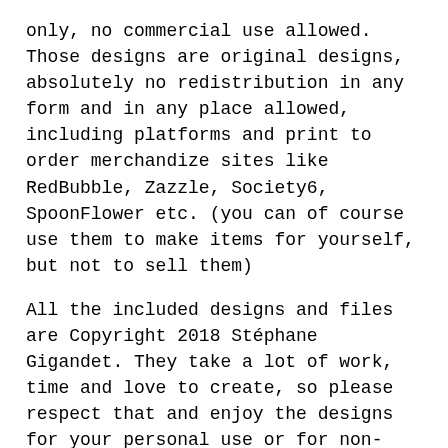only, no commercial use allowed. Those designs are original designs, absolutely no redistribution in any form and in any place allowed, including platforms and print to order merchandize sites like RedBubble, Zazzle, Society6, SpoonFlower etc. (you can of course use them to make items for yourself, but not to sell them)
All the included designs and files are Copyright 2018 Stéphane Gigandet. They take a lot of work, time and love to create, so please respect that and enjoy the designs for your personal use or for non-profit use only. Thank you.
■ ■ ■ THANK YOU! ■ ■ ■
I would love to see what you do with my designs, so if you purchase and use this summer SVG design, please leave an appreciation with a picture of what you made! Thank you!